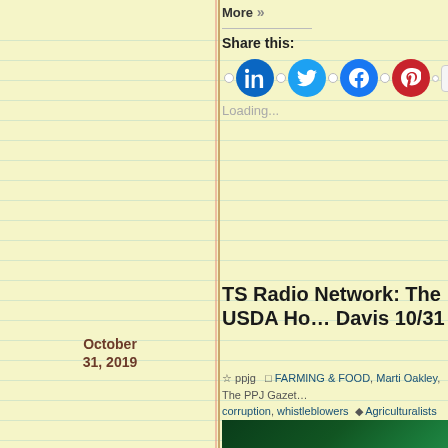More »
Share this:
[Figure (infographic): Social sharing buttons: LinkedIn (blue circle), Twitter (light blue circle), Facebook (dark blue circle), Pinterest (red circle), and a More button]
Loading...
October 31, 2019
TS Radio Network: The USDA Ho… Davis 10/31
ppjg  FARMING & FOOD, Marti Oakley, The PPJ Gazet… corruption, whistleblowers  Agriculturalists Association, Black Farmers Documentary, Coalition of Minority Employees, Food Systems, Kordel Davis, Lawrence Lucas, Marcel Reid, T… Waymon Henderson, Whistleblower's Summit, whistleblowers
[Figure (screenshot): TS Radio Network banner image with gold text on dark green background, with url www.blogtalk.com/marti-oakley]